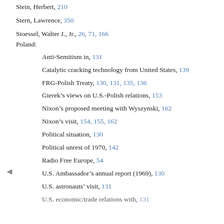Stein, Herbert, 210
Stern, Lawrence, 350
Stoessel, Walter J., Jr., 26, 71, 166
Poland:
Anti-Semitism in, 131
Catalytic cracking technology from United States, 139
FRG-Polish Treaty, 130, 131, 135, 136
Gierek's views on U.S.-Polish relations, 153
Nixon's proposed meeting with Wyszynski, 162
Nixon's visit, 154, 155, 162
Political situation, 130
Political unrest of 1970, 142
Radio Free Europe, 54
U.S. Ambassador's annual report (1969), 130
U.S. astronauts' visit, 131
U.S. economic/trade relations with, 131